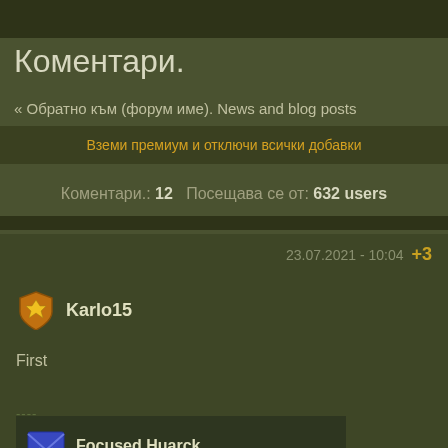Коментари.
<< Обратно към (форум име). News and blog posts
Вземи премиум и отключи всички добавки
Коментари.: 12   Посещава се от: 632 users
23.07.2021 - 10:04  +3
Karlo15
First
----
Focused Huarck